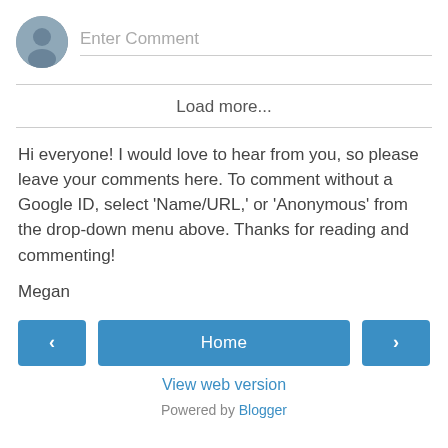[Figure (illustration): User avatar circle icon with a person silhouette]
Enter Comment
Load more...
Hi everyone! I would love to hear from you, so please leave your comments here. To comment without a Google ID, select 'Name/URL,' or 'Anonymous' from the drop-down menu above. Thanks for reading and commenting!
Megan
< Home > View web version Powered by Blogger